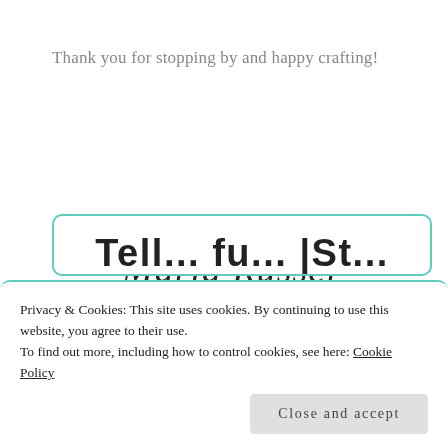Thank you for stopping by and happy crafting!
[Figure (illustration): Cursive signature reading 'Maria Russell' with a small red heart above the word 'Maria']
Privacy & Cookies: This site uses cookies. By continuing to use this website, you agree to their use.
To find out more, including how to control cookies, see here: Cookie Policy
Close and accept